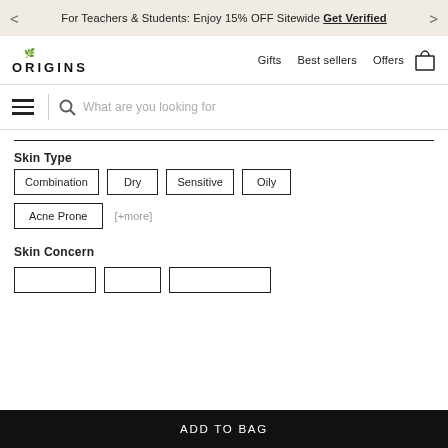For Teachers & Students: Enjoy 15% OFF Sitewide Get Verified
[Figure (logo): Origins logo with small leaf icon above text ORIGINS]
Gifts  Best sellers  Offers
What are you looking for
Skin Type
Combination
Dry
Sensitive
Oily
Acne Prone
[+more]
Skin Concern
ADD TO BAG